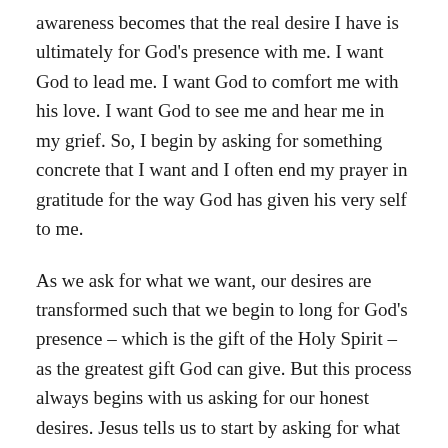awareness becomes that the real desire I have is ultimately for God's presence with me. I want God to lead me. I want God to comfort me with his love. I want God to see me and hear me in my grief. So, I begin by asking for something concrete that I want and I often end my prayer in gratitude for the way God has given his very self to me.
As we ask for what we want, our desires are transformed such that we begin to long for God's presence – which is the gift of the Holy Spirit – as the greatest gift God can give. But this process always begins with us asking for our honest desires. Jesus tells us to start by asking for what we really want. He doesn't tell us to only ask for the Holy Spirit. He says begin by asking for what you want. When you pray: